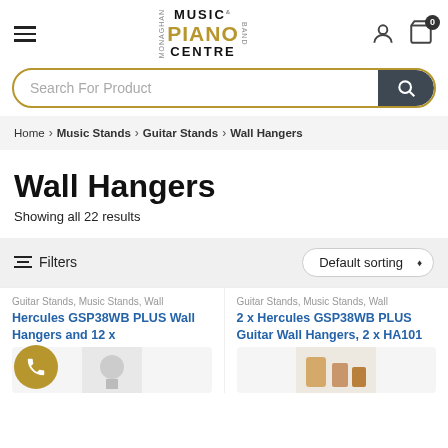[Figure (logo): Monaghan Music Piano Centre logo with hamburger menu, user icon, and cart icon with 0 badge]
Search For Product
Home > Music Stands > Guitar Stands > Wall Hangers
Wall Hangers
Showing all 22 results
Filters    Default sorting
Guitar Stands, Music Stands, Wall
Hercules GSP38WB PLUS Wall Hangers and 12 x
Guitar Stands, Music Stands, Wall
2 x Hercules GSP38WB PLUS Guitar Wall Hangers, 2 x HA101